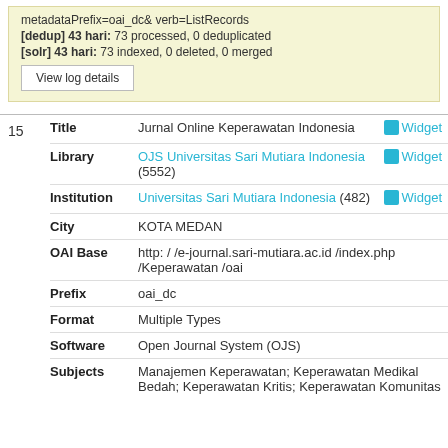metadataPrefix=oai_dc& verb=ListRecords
[dedup] 43 hari: 73 processed, 0 deduplicated
[solr] 43 hari: 73 indexed, 0 deleted, 0 merged
View log details
| # | Field | Value | Action |
| --- | --- | --- | --- |
| 15 | Title | Jurnal Online Keperawatan Indonesia | Widget |
|  | Library | OJS Universitas Sari Mutiara Indonesia (5552) | Widget |
|  | Institution | Universitas Sari Mutiara Indonesia (482) | Widget |
|  | City | KOTA MEDAN |  |
|  | OAI Base | http: / /e-journal.sari-mutiara.ac.id /index.php /Keperawatan /oai |  |
|  | Prefix | oai_dc |  |
|  | Format | Multiple Types |  |
|  | Software | Open Journal System (OJS) |  |
|  | Subjects | Manajemen Keperawatan; Keperawatan Medikal Bedah; Keperawatan Kritis; Keperawatan Komunitas |  |